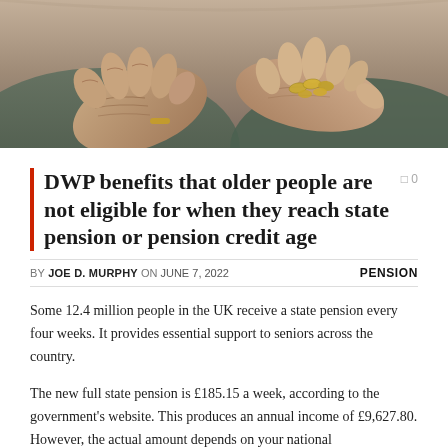[Figure (photo): Elderly hands holding coins, close-up photograph]
DWP benefits that older people are not eligible for when they reach state pension or pension credit age
BY JOE D. MURPHY ON JUNE 7, 2022   PENSION
Some 12.4 million people in the UK receive a state pension every four weeks. It provides essential support to seniors across the country.
The new full state pension is £185.15 a week, according to the government's website. This produces an annual income of £9,627.80. However, the actual amount depends on your national